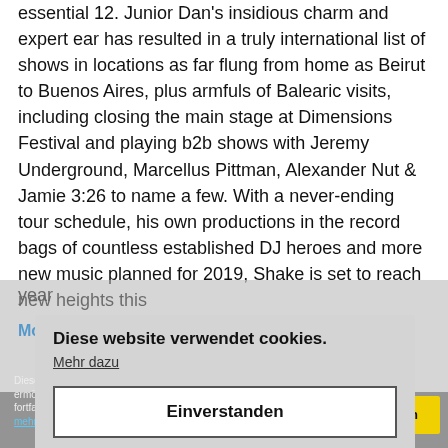essential 12. Junior Dan's insidious charm and expert ear has resulted in a truly international list of shows in locations as far flung from home as Beirut to Buenos Aires, plus armfuls of Balearic visits, including closing the main stage at Dimensions Festival and playing b2b shows with Jeremy Underground, Marcellus Pittman, Alexander Nut & Jamie 3:26 to name a few. With a never-ending tour schedule, his own productions in the record bags of countless established DJ heroes and more new music planned for 2019, Shake is set to reach new heights this year
More from Dan Shake
Diese website verwendet cookies. Mehr dazu
Einverstanden
Diese Webseite verwendet Cookies, um bestimmte Funktionen zu ermöglichen und das Angebot zu verbessern. Indem Sie hier fortfahren, stimmen Sie der Nutzung von Cookies zu. Erfahren Sie mehr
Akzeptieren